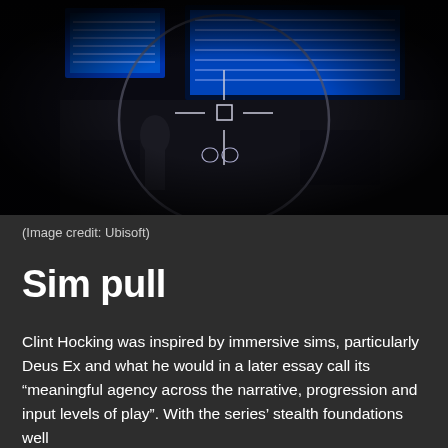[Figure (screenshot): Screenshot from a video game (likely Splinter Cell) showing a dark room with blue computer monitors and a sniper/surveillance scope overlay with crosshairs in the center. The image has a circular vignette effect.]
(Image credit: Ubisoft)
Sim pull
Clint Hocking was inspired by immersive sims, particularly Deus Ex and what he would in a later essay call its “meaningful agency across the narrative, progression and input levels of play”. With the series’ stealth foundations well